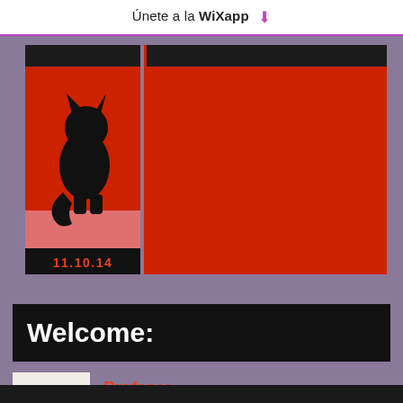Únete a la WiXapp ⬇
[Figure (illustration): Red card/poster with a black cat silhouette perched on a ledge, date 11.10.14 displayed on a black bar, pink/light red band in the middle, dark header strip at top, on a muted purple-grey background. A second dark header strip to the right with a large red background panel.]
Welcome:
NOV
03
Preface: